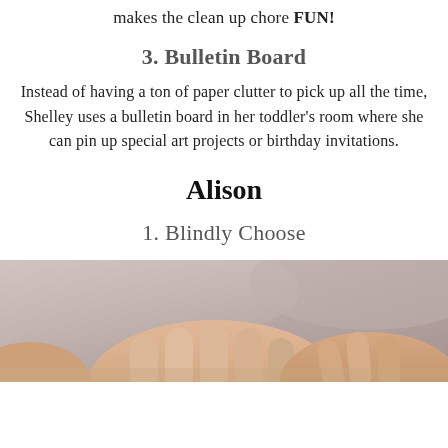makes the clean up chore FUN!
3. Bulletin Board
Instead of having a ton of paper clutter to pick up all the time, Shelley uses a bulletin board in her toddler's room where she can pin up special art projects or birthday invitations.
Alison
1. Blindly Choose
[Figure (photo): Close-up photo of hands, likely showing someone holding or doing something with their hands, warm skin tones against a soft background.]